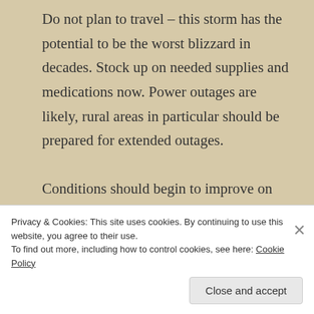Do not plan to travel – this storm has the potential to be the worst blizzard in decades. Stock up on needed supplies and medications now. Power outages are likely, rural areas in particular should be prepared for extended outages.

Conditions should begin to improve on Friday as the winds taper off and the heaviest snow moves into northern Ontario...although the clean-up after this
Privacy & Cookies: This site uses cookies. By continuing to use this website, you agree to their use.
To find out more, including how to control cookies, see here: Cookie Policy
Close and accept